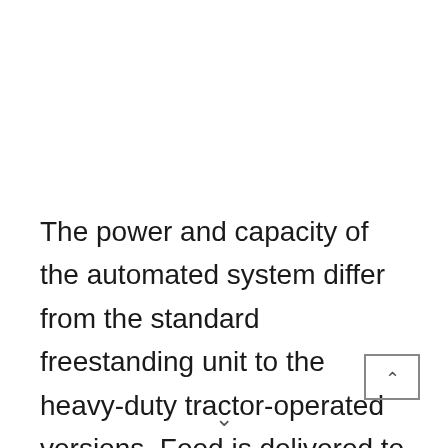The power and capacity of the automated system differ from the standard freestanding unit to the heavy-duty tractor-operated versions. Feed is delivered to the